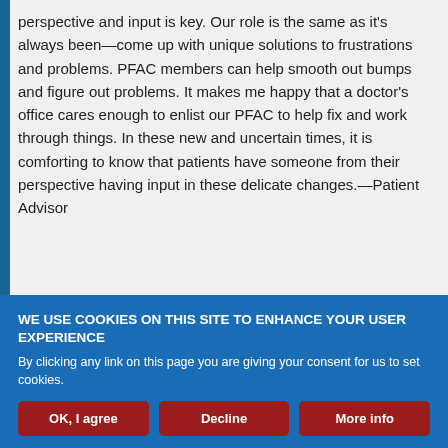perspective and input is key. Our role is the same as it's always been—come up with unique solutions to frustrations and problems. PFAC members can help smooth out bumps and figure out problems. It makes me happy that a doctor's office cares enough to enlist our PFAC to help fix and work through things. In these new and uncertain times, it is comforting to know that patients have someone from their perspective having input in these delicate changes.—Patient Advisor
WE USE COOKIES ON THIS SITE TO ENHANCE YOUR USER EXPERIENCE
By clicking any link on this page you are giving your consent for us to set cookies.